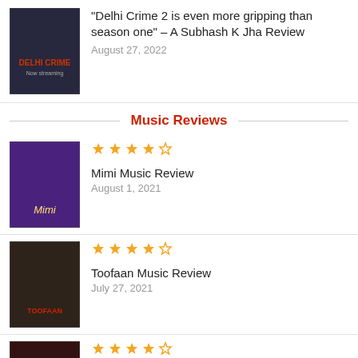[Figure (photo): Delhi Crime 2 movie poster thumbnail]
“Delhi Crime 2 is even more gripping than season one” – A Subhash K Jha Review
August 27, 2022
Music Reviews
[Figure (photo): Mimi movie poster thumbnail]
Mimi Music Review
August 1, 2021
[Figure (photo): Toofaan movie poster thumbnail]
Toofaan Music Review
July 27, 2021
[Figure (photo): A.R. Rahman 99 Songs movie poster thumbnail]
A.R. Rahman’s 99 Songs soundtrack is pure musical art that speaks to the soul